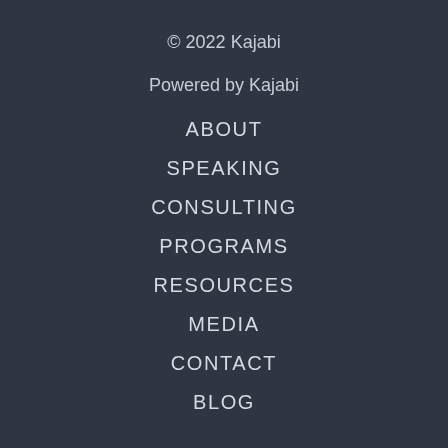© 2022 Kajabi
Powered by Kajabi
ABOUT
SPEAKING
CONSULTING
PROGRAMS
RESOURCES
MEDIA
CONTACT
BLOG